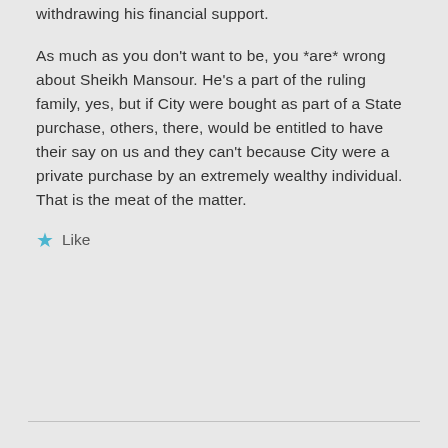withdrawing his financial support.
As much as you don't want to be, you *are* wrong about Sheikh Mansour. He's a part of the ruling family, yes, but if City were bought as part of a State purchase, others, there, would be entitled to have their say on us and they can't because City were a private purchase by an extremely wealthy individual. That is the meat of the matter.
★ Like